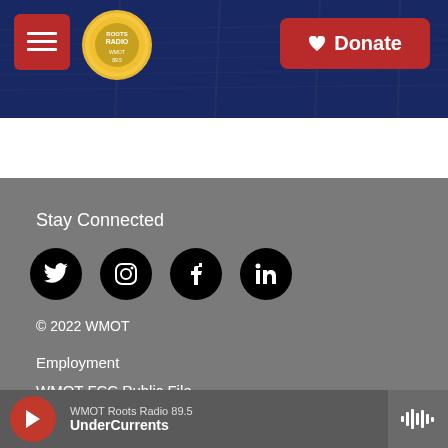[Figure (screenshot): Website header with dark blue background showing a guitar fretboard, hamburger menu button in red on left, Roots Radio circular logo in center-left, and red Donate button with heart icon on right.]
Stay Connected
[Figure (other): Four circular black social media icons in a row: Twitter (bird), Instagram (camera), Facebook (f), LinkedIn (in)]
© 2022 WMOT
Employment
WMOT FCC Public File
CPB Compliance
WMOT Roots Radio 89.5 UnderCurrents